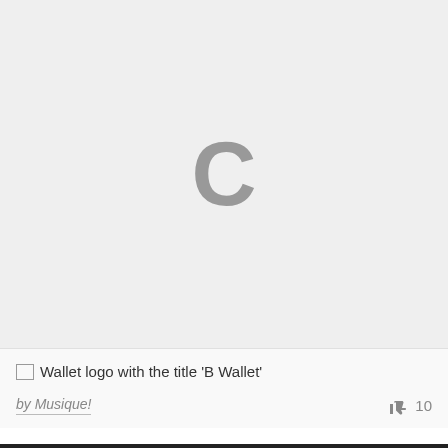[Figure (other): Large grey loading placeholder area with a grey letter C in the center, indicating an image failed to load or is loading.]
Wallet logo with the title 'B Wallet'
by Musique!
10